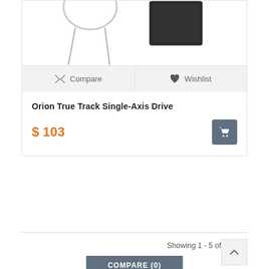[Figure (photo): Partial product image showing cables/earphones and a dark object at top of card]
Compare
Wishlist
Orion True Track Single-Axis Drive
$ 103
Showing 1 - 5 of 5 items
COMPARE (0)